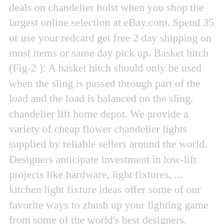deals on chandelier hoist when you shop the largest online selection at eBay.com. Spend 35 or use your redcard get free 2 day shipping on most items or same day pick up. Basket hitch (Fig-2 ): A basket hitch should only be used when the sling is passed through part of the load and the load is balanced on the sling. chandelier lift home depot. We provide a variety of cheap flower chandelier lights supplied by reliable sellers around the world. Designers anticipate investment in low-lift projects like hardware, light fixtures, ... kitchen light fixture ideas offer some of our favorite ways to zhush up your lighting game from some of the world's best designers. Capacity online from Wayfair, we make it as easy as possible for you to find out when your product will be delivered. chandelier light lift hoist. When we walk into a room and gaze at that sparkling halo of unparalleled perfection, our eyeballs boing out of their sockets, our blood boils, and the tears in our eyes match the crystal drops of the chandelier's festoon.. At the very least, they can be overwhelming and make a powerful statement in the home. The best deals on chandelier hoist with